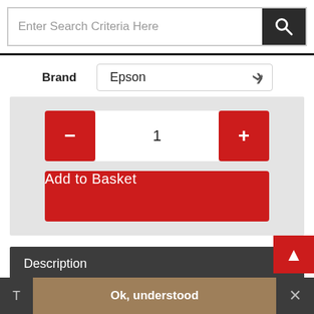[Figure (screenshot): Search bar with placeholder text 'Enter Search Criteria Here' and dark search icon button]
Brand  Epson
[Figure (screenshot): Quantity selector with red minus button, '1' in white input, red plus button, and red 'Add to Basket' button, all on gray background]
Description
This genuine Epson Ink Bottle provides 70ml of ink for your Epson EcoTank refillable inkjet printer, providing unbeatable value-for-money compared to traditional ink cartridges. Just
T  Ok, understood  ×